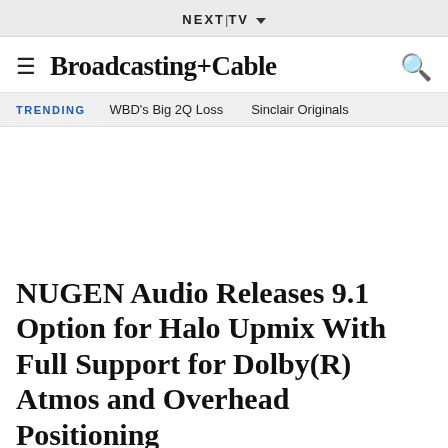NEXT TV ▾
Broadcasting+Cable
TRENDING   WBD's Big 2Q Loss   Sinclair Originals
NUGEN Audio Releases 9.1 Option for Halo Upmix With Full Support for Dolby(R) Atmos and Overhead Positioning